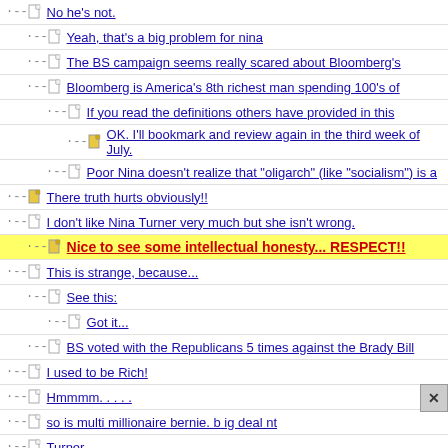No he's not.
Yeah, that's a big problem for nina
The BS campaign seems really scared about Bloomberg's
Bloomberg is America's 8th richest man spending 100's of
If you read the definitions others have provided in this
OK. I'll bookmark and review again in the third week of July.
Poor Nina doesn't realize that "oligarch" (like "socialism") is a
There truth hurts obviously!!
I don't like Nina Turner very much but she isn't wrong.
Nice to see some intellectual honesty... RESPECT!!
This is strange, because...
See this:
Got it...
BS voted with the Republicans 5 times against the Brady Bill
I used to be Rich!
Hmmmm. . . . .
so is multi millionaire bernie. b ig deal nt
Turner
Not impressed by Turner. Makes me question Bernie's judgement
Very poor judgement